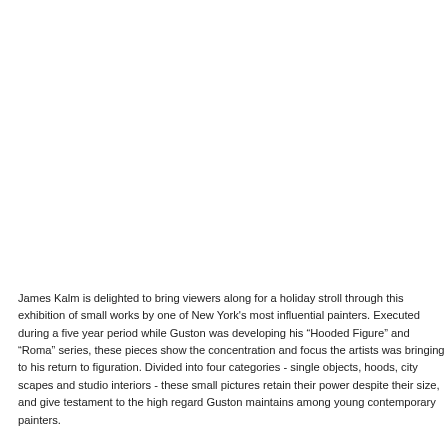James Kalm is delighted to bring viewers along for a holiday stroll through this exhibition of small works by one of New York's most influential painters. Executed during a five year period while Guston was developing his "Hooded Figure" and "Roma" series, these pieces show the concentration and focus the artists was bringing to his return to figuration. Divided into four categories - single objects, hoods, city scapes and studio interiors - these small pictures retain their power despite their size, and give testament to the high regard Guston maintains among young contemporary painters.